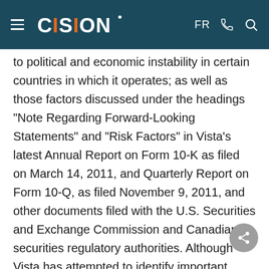CISION  FR
to political and economic instability in certain countries in which it operates; as well as those factors discussed under the headings "Note Regarding Forward-Looking Statements" and "Risk Factors" in Vista's latest Annual Report on Form 10-K as filed on March 14, 2011, and Quarterly Report on Form 10-Q, as filed November 9, 2011, and other documents filed with the U.S. Securities and Exchange Commission and Canadian securities regulatory authorities. Although Vista has attempted to identify important factors that could cause actual results to differ materially from those described in forward-looking statements and forward-looking information, there may be other factors that cause results not to be as